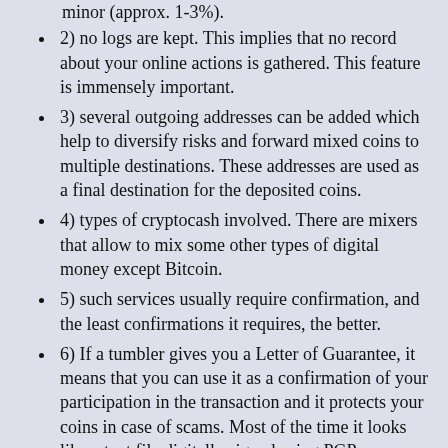minor (approx. 1-3%).
2) no logs are kept. This implies that no record about your online actions is gathered. This feature is immensely important.
3) several outgoing addresses can be added which help to diversify risks and forward mixed coins to multiple destinations. These addresses are used as a final destination for the deposited coins.
4) types of cryptocash involved. There are mixers that allow to mix some other types of digital money except Bitcoin.
5) such services usually require confirmation, and the least confirmations it requires, the better.
6) If a tumbler gives you a Letter of Guarantee, it means that you can use it as a confirmation of your participation in the transaction and it protects your coins in case of scams. Most of the time it looks like a text file digitally signed using PGP technology. The defined options are critical to make a decision which cryptocurrency mixer to use. There are some more aspects that also need to be noticed and all of them are listed in the below table of the best